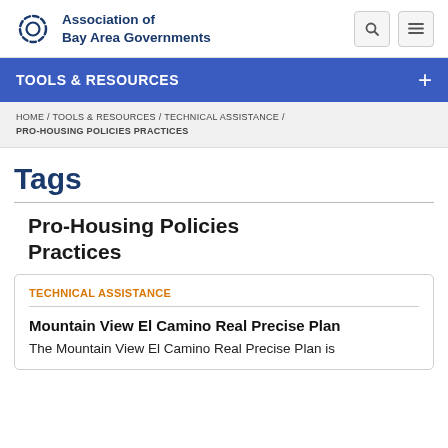Association of Bay Area Governments
TOOLS & RESOURCES
HOME / TOOLS & RESOURCES / TECHNICAL ASSISTANCE / PRO-HOUSING POLICIES PRACTICES
Tags
Pro-Housing Policies Practices
TECHNICAL ASSISTANCE
Mountain View El Camino Real Precise Plan
The Mountain View El Camino Real Precise Plan is